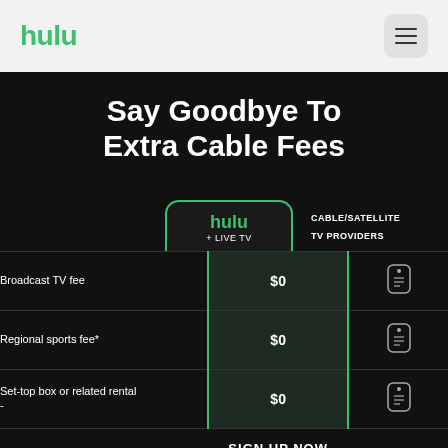hulu
Say Goodbye To Extra Cable Fees
|  | hulu + LIVE TV | CABLE/SATELLITE TV PROVIDERS |
| --- | --- | --- |
| Broadcast TV fee | $0 | (price tag icon) |
| Regional sports fee* | $0 | (price tag icon) |
| Set-top box or related rental - | $0 | (price tag icon) |
SIGN UP NOW
convenience fees